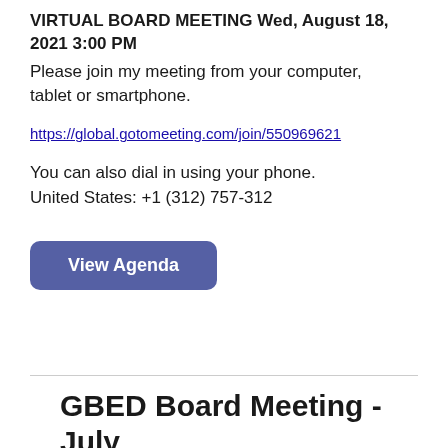VIRTUAL BOARD MEETING Wed, August 18, 2021 3:00 PM
Please join my meeting from your computer, tablet or smartphone.
https://global.gotomeeting.com/join/550969621
You can also dial in using your phone.
United States: +1 (312) 757-312
View Agenda
GBED Board Meeting - July 22, 2021 at 03:00 PM